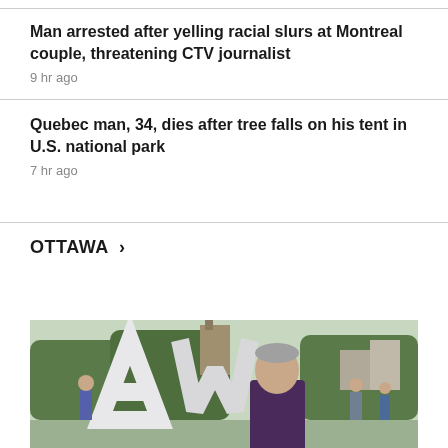Man arrested after yelling racial slurs at Montreal couple, threatening CTV journalist
9 hr ago
Quebec man, 34, dies after tree falls on his tent in U.S. national park
7 hr ago
OTTAWA >
[Figure (photo): Outdoor photo of a man with short grey hair wearing a dark purple top, standing in front of large letter sculptures spelling 'AW', with trees and buildings visible in the background]